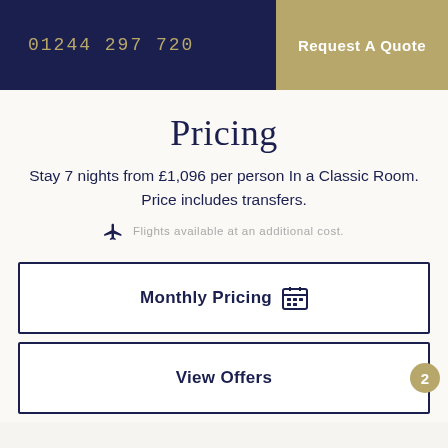01244 297 720
Request A Quote
Pricing
Stay 7 nights from £1,096 per person In a Classic Room. Price includes transfers.
Flights available at an additional cost.
Monthly Pricing
View Offers